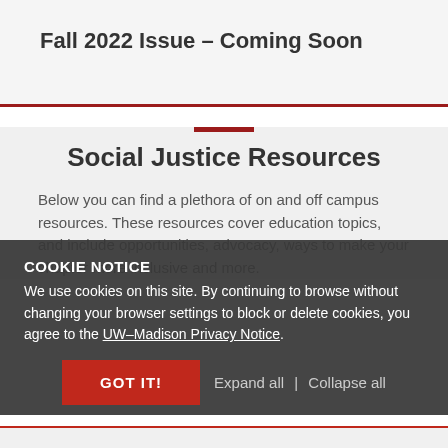Fall 2022 Issue – Coming Soon
Social Justice Resources
Below you can find a plethora of on and off campus resources. These resources cover education topics, and include opportunities, advocacy, ways to make your chapter more inclusive and more.
COOKIE NOTICE
We use cookies on this site. By continuing to browse without changing your browser settings to block or delete cookies, you agree to the UW–Madison Privacy Notice.
GOT IT!   Expand all | Collapse all